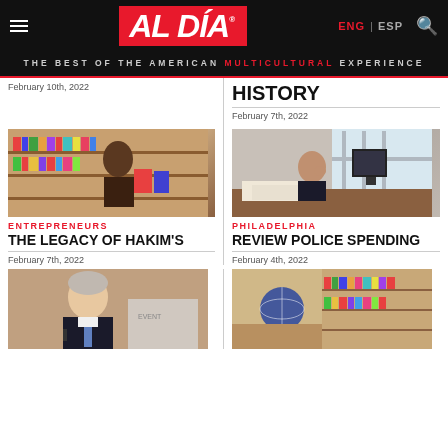AL DÍA — THE BEST OF THE AMERICAN MULTICULTURAL EXPERIENCE
February 10th, 2022
HISTORY
February 7th, 2022
[Figure (photo): Person browsing books in a bookstore with shelves of books visible]
ENTREPRENEURS
THE LEGACY OF HAKIM'S
February 7th, 2022
[Figure (photo): Woman sitting at a desk in an office looking thoughtful]
PHILADELPHIA
REVIEW POLICE SPENDING
February 4th, 2022
[Figure (photo): Man in suit speaking at an event]
[Figure (photo): Interior of a bookstore with shelves of books and colorful display]